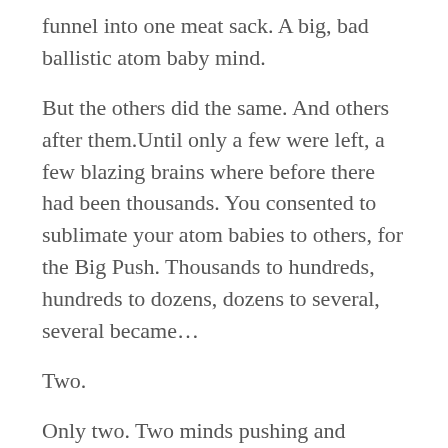funnel into one meat sack. A big, bad ballistic atom baby mind.
But the others did the same. And others after them.Until only a few were left, a few blazing brains where before there had been thousands. You consented to sublimate your atom babies to others, for the Big Push. Thousands to hundreds, hundreds to dozens, dozens to several, several became…
Two.
Only two. Two minds pushing and pulling. Two minds that cracked the sky and boiled the oceans, two minds full of thousands. Two minds. One failed.
I/We were the last. Wasn't/Weren't I/we? Or was/were I/we the first? Was this meat I/we wear the first or the last? Alpha or omega?
I/We can't remember, really.